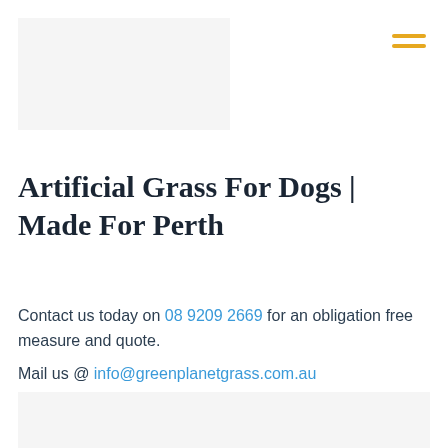[Figure (logo): Logo placeholder image for Green Planet Grass, light gray rectangle]
[Figure (other): Hamburger menu icon with three horizontal orange/golden lines]
Artificial Grass For Dogs | Made For Perth
Contact us today on 08 9209 2669 for an obligation free measure and quote.
Mail us @ info@greenplanetgrass.com.au
[Figure (photo): Bottom image placeholder, light gray rectangle]